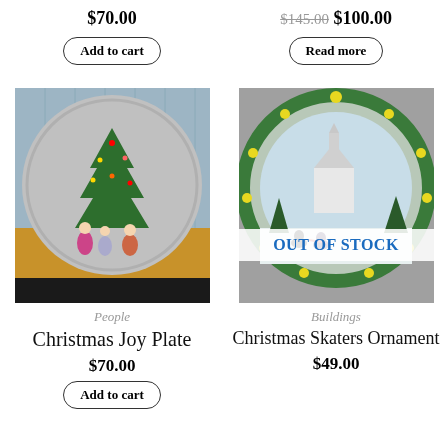$70.00
Add to cart
$145.00 $100.00
Read more
[Figure (photo): Decorative plate showing a Christmas scene with children around a Christmas tree in a room with blue paneled walls, displayed on a wooden easel.]
People
Christmas Joy Plate
$70.00
Add to cart
[Figure (photo): Decorative plate with a green and yellow floral border showing two ice skaters in black near a church in a snowy winter scene. An 'OUT OF STOCK' banner overlays the image.]
Buildings
Christmas Skaters Ornament
$49.00